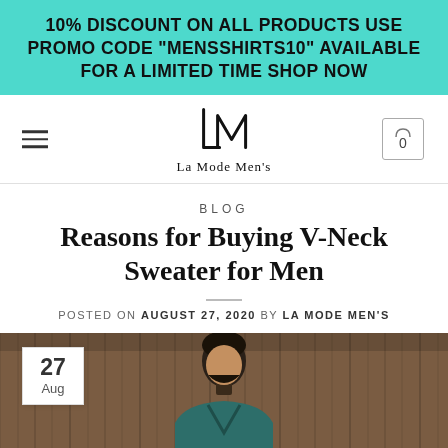10% DISCOUNT ON ALL PRODUCTS USE PROMO CODE "MENSSHIRTS10" AVAILABLE FOR A LIMITED TIME SHOP NOW
[Figure (logo): La Mode Men's logo with stylized LM lettermark and text below]
BLOG
Reasons for Buying V-Neck Sweater for Men
POSTED ON AUGUST 27, 2020 BY LA MODE MEN'S
[Figure (photo): Man wearing a green V-neck sweater standing in front of a wooden background, with a date badge showing 27 Aug in the lower left corner]